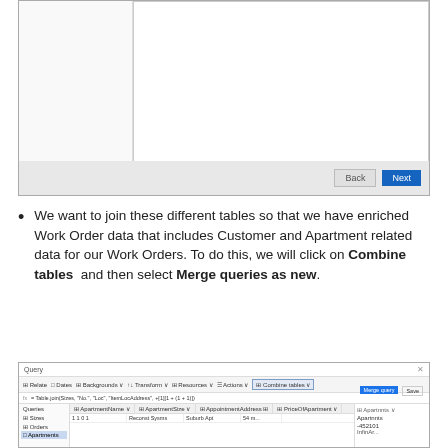[Figure (screenshot): A software dialog/wizard window with a white content area and a light gray footer bar containing 'Back' and 'Next' buttons (Next is blue).]
We want to join these different tables so that we have enriched Work Order data that includes Customer and Apartment related data for our Work Orders. To do this, we will click on Combine tables and then select Merge queries as new.
[Figure (screenshot): A Power Query Editor window showing a toolbar with options including Relate, Dates, Backgrounds, Transform, Resources, Actions, Combine tables (highlighted), and a query panel on the left with Apartments table selected. The formula bar shows a relationship expression. The main data area shows columns including ApartmentName, ApartmentSize, AppointmentAddress, PriceOfApartment with some visible row data.]